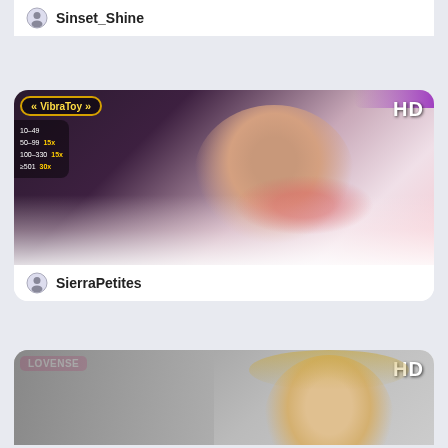Sinset_Shine
[Figure (screenshot): Live stream thumbnail showing a young woman in red lingerie sitting in a beige chair with steam/fog effect, VibraToy overlay panel on left, HD label top right, purple LED lighting in background]
SierraPetites
[Figure (screenshot): Live stream thumbnail showing a blonde woman with a lollipop, Lovense overlay top left, HD label top right, grey concrete-like background]